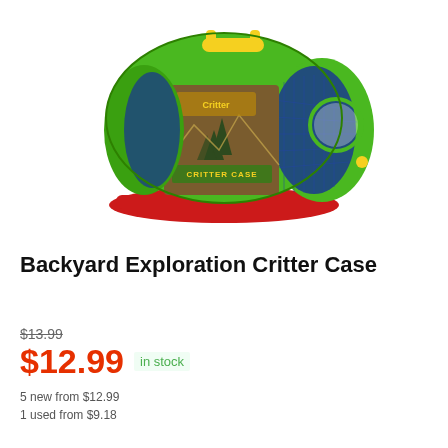[Figure (photo): Product photo of the Backyard Exploration Critter Case toy — a cylindrical bug catcher with green plastic frame, red base, yellow handle, blue mesh sides, and a brown label reading 'CRITTER CASE'.]
Backyard Exploration Critter Case
$13.99
$12.99 in stock
5 new from $12.99
1 used from $9.18